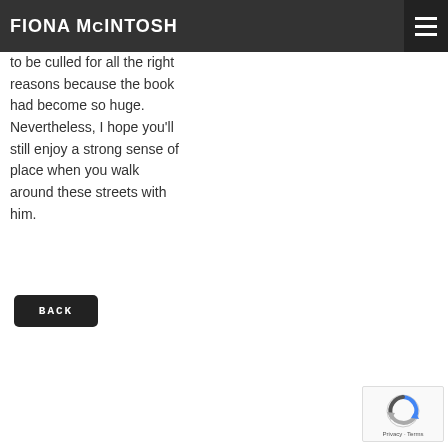FIONA McINTOSH
to be culled for all the right reasons because the book had become so huge.  Nevertheless, I hope you'll still enjoy a strong sense of place when you walk around these streets with him.
[Figure (other): BACK button — dark rounded rectangle with white uppercase text]
[Figure (other): reCAPTCHA widget with spinning arrows logo and 'Privacy - Terms' text]